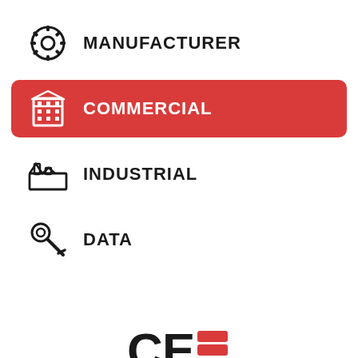MANUFACTURER
COMMERCIAL
INDUSTRIAL
DATA
[Figure (logo): CES Transformers logo with black C, black E, red S and TRANSFORMERS text below]